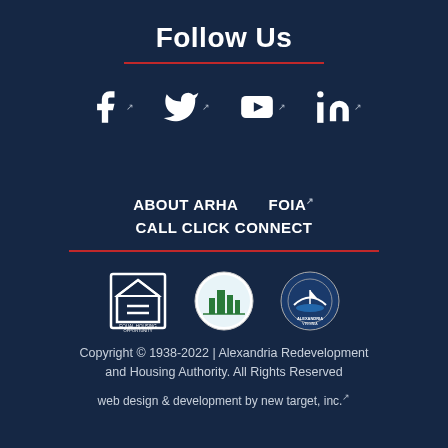Follow Us
[Figure (infographic): Social media icons: Facebook, Twitter, YouTube, LinkedIn each with external link markers]
ABOUT ARHA   FOIA[link]   CALL CLICK CONNECT
[Figure (logo): Three logos: Equal Housing Opportunity, ARHA city/building logo, City of Alexandria Virginia seal]
Copyright © 1938-2022 | Alexandria Redevelopment and Housing Authority. All Rights Reserved
web design & development by new target, inc.[link]